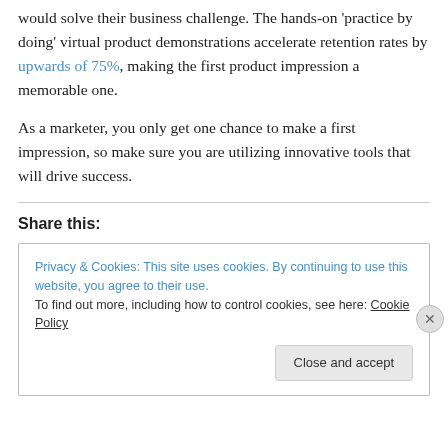would solve their business challenge. The hands-on 'practice by doing' virtual product demonstrations accelerate retention rates by upwards of 75%, making the first product impression a memorable one.
As a marketer, you only get one chance to make a first impression, so make sure you are utilizing innovative tools that will drive success.
Share this:
Privacy & Cookies: This site uses cookies. By continuing to use this website, you agree to their use. To find out more, including how to control cookies, see here: Cookie Policy